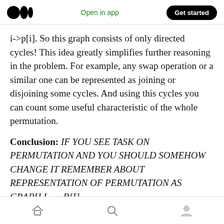Medium logo | Open in app | Get started
i->p[i]. So this graph consists of only directed cycles! This idea greatly simplifies further reasoning in the problem. For example, any swap operation or a similar one can be represented as joining or disjoining some cycles. And using this cycles you can count some useful characteristic of the whole permutation.
Conclusion: IF YOU SEE TASK ON PERMUTATION AND YOU SHOULD SOMEHOW CHANGE IT REMEMBER ABOUT REPRESENTATION OF PERMUTATION AS GRAPH I → P[I]
Home | Search | Profile